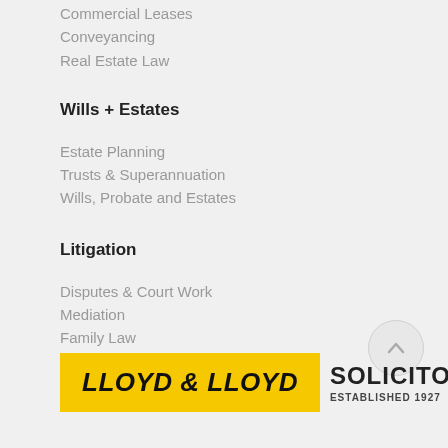Commercial Leases
Conveyancing
Real Estate Law
Wills + Estates
Estate Planning
Trusts & Superannuation
Wills, Probate and Estates
Litigation
Disputes & Court Work
Mediation
Family Law
[Figure (logo): Lloyd & Lloyd Solicitors logo with yellow background and established 1927 text]